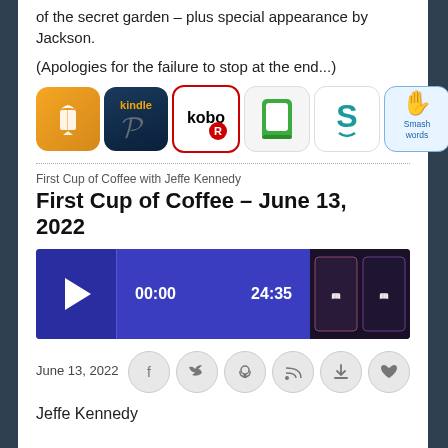of the secret garden – plus special appearance by Jackson.
(Apologies for the failure to stop at the end...)
[Figure (infographic): Row of retailer/platform icons: Apple Books, Kindle, Kobo, Nook, Scribd, Smashwords]
First Cup of Coffee with Jeffe Kennedy
First Cup of Coffee – June 13, 2022
[Figure (other): Audio player bar showing play button, time 00:00, duration 24:35, and book cover thumbnail]
June 13, 2022
[Figure (infographic): Social sharing icons: Facebook, Twitter, Podcast, RSS, Download, Favorite]
Jeffe Kennedy